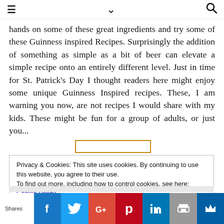≡  ∨  🔍
hands on some of these great ingredients and try some of these Guinness inspired Recipes. Surprisingly the addition of something as simple as a bit of beer can elevate a simple recipe onto an entirely different level. Just in time for St. Patrick's Day I thought readers here might enjoy some unique Guinness Inspired recipes. These, I am warning you now, are not recipes I would share with my kids. These might be fun for a group of adults, or just you...
Privacy & Cookies: This site uses cookies. By continuing to use this website, you agree to their use.
To find out more, including how to control cookies, see here: Cookie Policy
Shares  f  t  G+  P  in  🖨  ♛